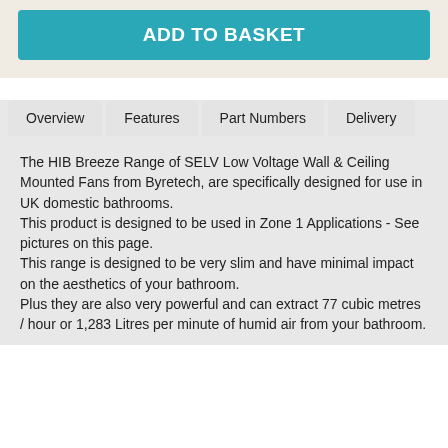ADD TO BASKET
Overview | Features | Part Numbers | Delivery
The HIB Breeze Range of SELV Low Voltage Wall & Ceiling Mounted Fans from Byretech, are specifically designed for use in UK domestic bathrooms.
This product is designed to be used in Zone 1 Applications - See pictures on this page.
This range is designed to be very slim and have minimal impact on the aesthetics of your bathroom.
Plus they are also very powerful and can extract 77 cubic metres / hour or 1,283 Litres per minute of humid air from your bathroom.